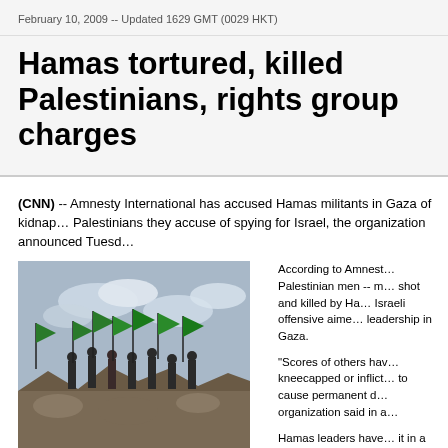February 10, 2009 -- Updated 1629 GMT (0029 HKT)
Hamas tortured, killed Palestinians, rights group charges
(CNN) -- Amnesty International has accused Hamas militants in Gaza of kidnapping and shooting Palestinians they accuse of spying for Israel, the organization announced Tuesday.
[Figure (photo): People standing on rubble waving green Hamas flags against a cloudy sky]
According to Amnesty, Palestinian men -- many shot and killed by Hamas during the Israeli offensive aimed at Hamas leadership in Gaza.
"Scores of others have been kneecapped or inflicted wounds to cause permanent disability," the organization said in a
Hamas leaders have it in Palestinian